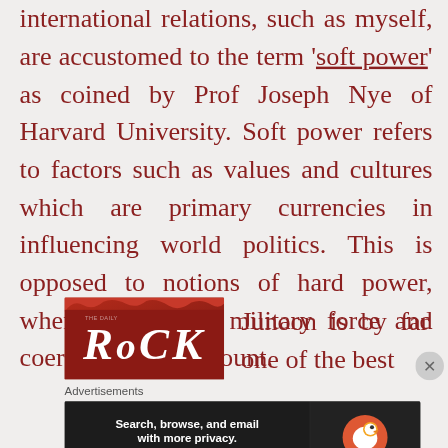international relations, such as myself, are accustomed to the term 'soft power' as coined by Prof Joseph Nye of Harvard University. Soft power refers to factors such as values and cultures which are primary currencies in influencing world politics. This is opposed to notions of hard power, where the use of military force and coercion are paramount.
[Figure (logo): Rock logo — red/crimson background with torn paper top edge, white bold italic text reading 'RoCK']
Junoon is by far one of the best
Advertisements
[Figure (screenshot): DuckDuckGo advertisement banner: dark background, bold white text 'Search, browse, and email with more privacy. All in One Free App', DuckDuckGo duck logo on the right]